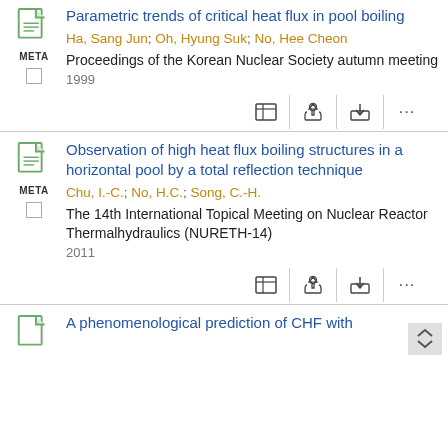Parametric trends of critical heat flux in pool boiling — Ha, Sang Jun; Oh, Hyung Suk; No, Hee Cheon — Proceedings of the Korean Nuclear Society autumn meeting — 1999
Observation of high heat flux boiling structures in a horizontal pool by a total reflection technique — Chu, I.-C.; No, H.C.; Song, C.-H. — The 14th International Topical Meeting on Nuclear Reactor Thermalhydraulics (NURETH-14) — 2011
A phenomenological prediction of CHF with...